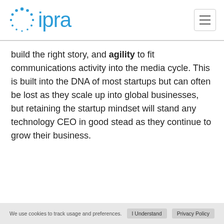ipra
build the right story, and agility to fit communications activity into the media cycle. This is built into the DNA of most startups but can often be lost as they scale up into global businesses, but retaining the startup mindset will stand any technology CEO in good stead as they continue to grow their business.
We use cookies to track usage and preferences.  I Understand  Privacy Policy